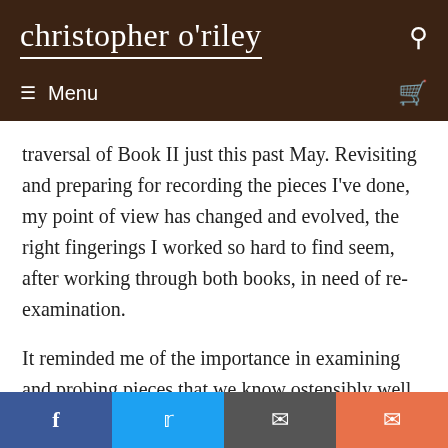christopher o'riley
≡ Menu
traversal of Book II just this past May. Revisiting and preparing for recording the pieces I've done, my point of view has changed and evolved, the right fingerings I worked so hard to find seem, after working through both books, in need of re-examination.
It reminded me of the importance in examining and probing pieces that we know ostensibly well